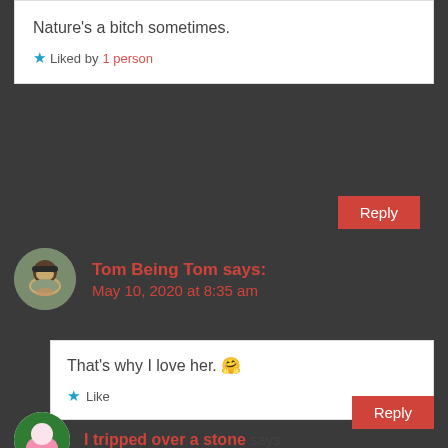Nature's a bitch sometimes.
★ Liked by 1 person
Reply
Tom Being Tom says: May 10, 2020 at 8:35 am
That's why I love her. 🤗
★ Like
Reply
I tripped over a stone says: